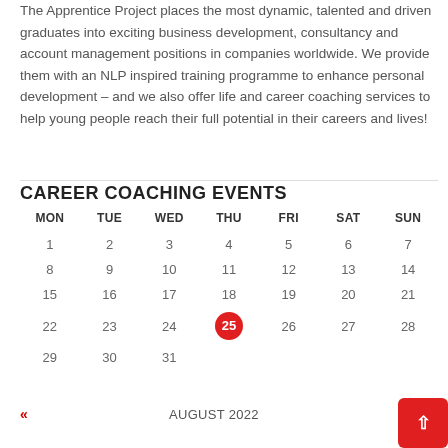The Apprentice Project places the most dynamic, talented and driven graduates into exciting business development, consultancy and account management positions in companies worldwide. We provide them with an NLP inspired training programme to enhance personal development – and we also offer life and career coaching services to help young people reach their full potential in their careers and lives!
CAREER COACHING EVENTS
| MON | TUE | WED | THU | FRI | SAT | SUN |
| --- | --- | --- | --- | --- | --- | --- |
| 1 | 2 | 3 | 4 | 5 | 6 | 7 |
| 8 | 9 | 10 | 11 | 12 | 13 | 14 |
| 15 | 16 | 17 | 18 | 19 | 20 | 21 |
| 22 | 23 | 24 | 25 | 26 | 27 | 28 |
| 29 | 30 | 31 |  |  |  |  |
AUGUST 2022